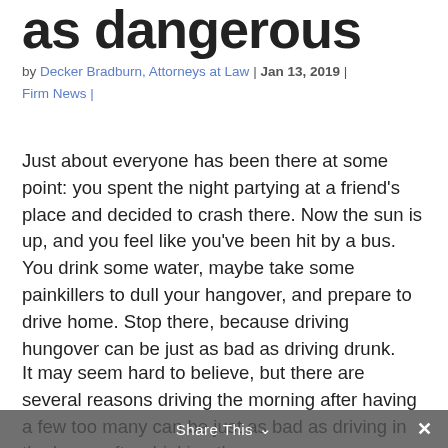as dangerous
by Decker Bradburn, Attorneys at Law | Jan 13, 2019 | Firm News |
Just about everyone has been there at some point: you spent the night partying at a friend's place and decided to crash there. Now the sun is up, and you feel like you've been hit by a bus. You drink some water, maybe take some painkillers to dull your hangover, and prepare to drive home. Stop there, because driving hungover can be just as bad as driving drunk.
It may seem hard to believe, but there are several reasons driving the morning after having a few too many can be just as bad as driving in the hours after drinking them.